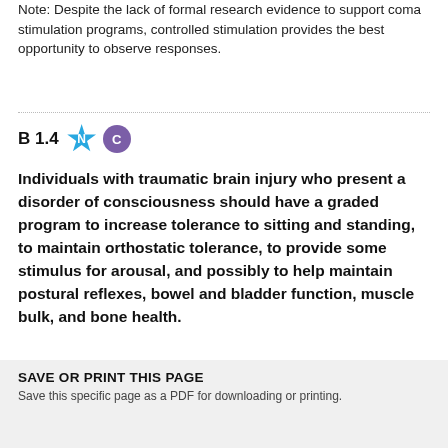Note: Despite the lack of formal research evidence to support coma stimulation programs, controlled stimulation provides the best opportunity to observe responses.
B 1.4
Individuals with traumatic brain injury who present a disorder of consciousness should have a graded program to increase tolerance to sitting and standing, to maintain orthostatic tolerance, to provide some stimulus for arousal, and possibly to help maintain postural reflexes, bowel and bladder function, muscle bulk, and bone health.
(INESSS-ONF, 2015)
[Figure (other): Back to top button — orange/brown rounded square with upward chevron arrow icon]
SAVE OR PRINT THIS PAGE
Save this specific page as a PDF for downloading or printing.